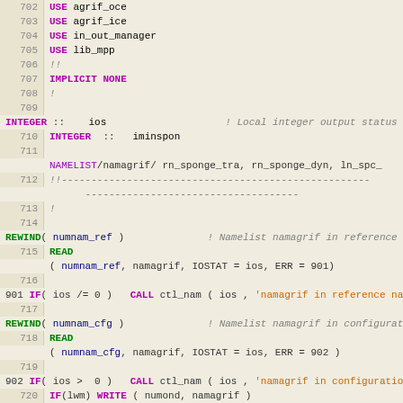[Figure (screenshot): Fortran source code viewer showing lines 702-725 with syntax highlighting. Line numbers on the left, code on the right with purple keywords, green function names, grey italic comments, and orange string literals.]